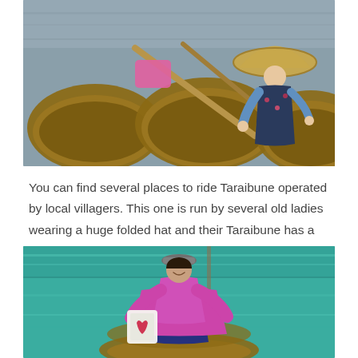[Figure (photo): Wooden Taraibune tub boats on water with an old lady in a large folded hat and floral shirt sitting in one of the boats, holding an oar.]
You can find several places to ride Taraibune operated by local villagers. This one is run by several old ladies wearing a huge folded hat and their Taraibune has a glass panel in the middle of the boat so you can see right through the azure clear waters!
[Figure (photo): A woman in a bright magenta/purple outfit standing in a Taraibune tub boat on clear turquoise-green water, holding a bag, smiling at the camera.]